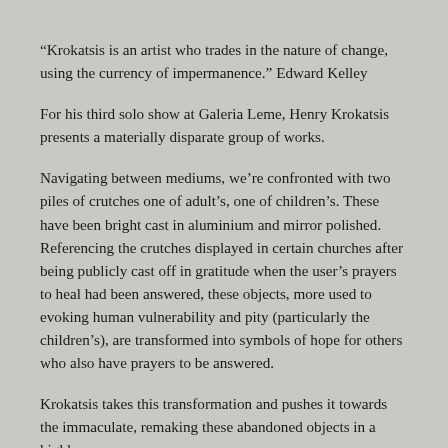“Krokatsis is an artist who trades in the nature of change, using the currency of impermanence.” Edward Kelley
For his third solo show at Galeria Leme, Henry Krokatsis presents a materially disparate group of works.
Navigating between mediums, we’re confronted with two piles of crutches one of adult’s, one of children’s. These have been bright cast in aluminium and mirror polished. Referencing the crutches displayed in certain churches after being publicly cast off in gratitude when the user’s prayers to heal had been answered, these objects, more used to evoking human vulnerability and pity (particularly the children’s), are transformed into symbols of hope for others who also have prayers to be answered.
Krokatsis takes this transformation and pushes it towards the immaculate, remaking these abandoned objects in a highly